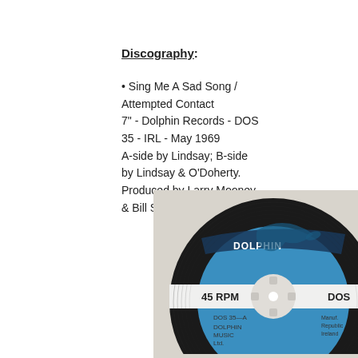Discography:
• Sing Me A Sad Song / Attempted Contact 7" - Dolphin Records - DOS 35 - IRL - May 1969 A-side by Lindsay; B-side by Lindsay & O'Doherty. Produced by Larry Mooney & Bill Somerville-Large.
[Figure (photo): Close-up photo of a Dolphin Records 7" vinyl record label, blue with dolphin logo, showing '45 RPM', 'DOS 35-A', 'DOLPHIN MUSIC Ltd.' text]